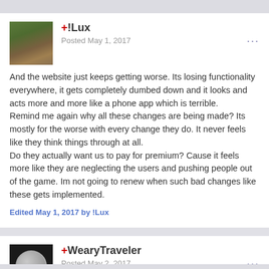+!Lux
Posted May 1, 2017
And the website just keeps getting worse. Its losing functionality everywhere, it gets completely dumbed down and it looks and acts more and more like a phone app which is terrible.
Remind me again why all these changes are being made? Its mostly for the worse with every change they do. It never feels like they think things through at all.
Do they actually want us to pay for premium? Cause it feels more like they are neglecting the users and pushing people out of the game. Im not going to renew when such bad changes like these gets implemented.
Edited May 1, 2017 by !Lux
+WearyTraveler
Posted May 2, 2017